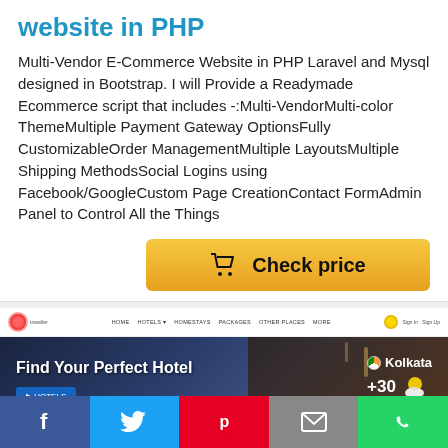website in PHP
Multi-Vendor E-Commerce Website in PHP Laravel and Mysql designed in Bootstrap. I will Provide a Readymade Ecommerce script that includes -:Multi-VendorMulti-color ThemeMultiple Payment Gateway OptionsFully CustomizableOrder ManagementMultiple LayoutsMultiple Shipping MethodsSocial Logins using Facebook/GoogleCustom Page CreationContact FormAdmin Panel to Control All the Things
[Figure (screenshot): Orange 'Check price' button with shopping cart icon]
[Figure (screenshot): Hotel booking website screenshot showing navigation bar with logo, links (HOME, HOTELS, HOMESTAYS, PACKAGES, OTHER PLACES, MORE), hero section with 'Find Your Perfect Hotel' text, Kolkata weather showing +30 degrees with cloud icon]
[Figure (infographic): Social share bar with Facebook (blue), Twitter (light blue), Pinterest (red), Email (gray), WhatsApp (green) buttons]